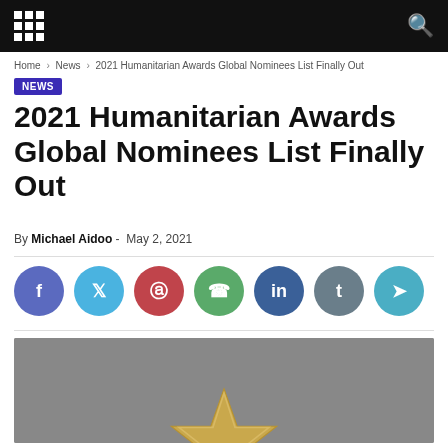Home › News › 2021 Humanitarian Awards Global Nominees List Finally Out
NEWS
2021 Humanitarian Awards Global Nominees List Finally Out
By Michael Aidoo - May 2, 2021
[Figure (other): Social media share buttons row: Facebook, Twitter, Pinterest, WhatsApp, LinkedIn, Tumblr, Telegram]
[Figure (photo): Gray background with a partial gold star award trophy at center-bottom of the image]